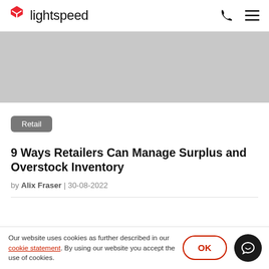lightspeed
[Figure (illustration): Gray hero image placeholder area]
Retail
9 Ways Retailers Can Manage Surplus and Overstock Inventory
by Alix Fraser | 30-08-2022
Our website uses cookies as further described in our cookie statement. By using our website you accept the use of cookies.